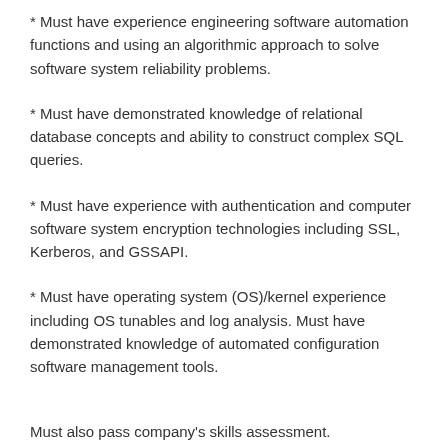* Must have experience engineering software automation functions and using an algorithmic approach to solve software system reliability problems.
* Must have demonstrated knowledge of relational database concepts and ability to construct complex SQL queries.
* Must have experience with authentication and computer software system encryption technologies including SSL, Kerberos, and GSSAPI.
* Must have operating system (OS)/kernel experience including OS tunables and log analysis. Must have demonstrated knowledge of automated configuration software management tools.
Must also pass company's skills assessment.